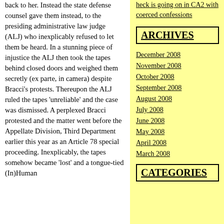back to her. Instead the state defense counsel gave them instead, to the presiding administrative law judge (ALJ) who inexplicably refused to let them be heard. In a stunning piece of injustice the ALJ then took the tapes behind closed doors and weighed them secretly (ex parte, in camera) despite Bracci’s protests. Thereupon the ALJ ruled the tapes ‘unreliable’ and the case was dismissed. A perplexed Bracci protested and the matter went before the Appellate Division, Third Department earlier this year as an Article 78 special proceeding. Inexplicably, the tapes somehow became ‘lost’ and a tongue-tied (In)Human
heck is going on in CA2 with coerced confessions
ARCHIVES
December 2008
November 2008
October 2008
September 2008
August 2008
July 2008
June 2008
May 2008
April 2008
March 2008
CATEGORIES